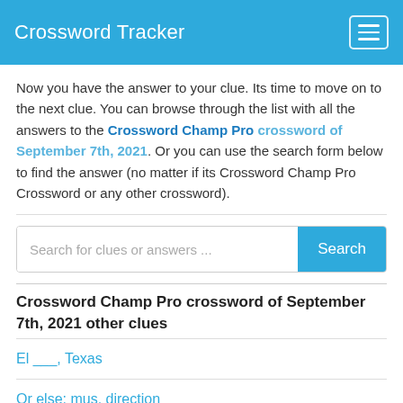Crossword Tracker
Now you have the answer to your clue. Its time to move on to the next clue. You can browse through the list with all the answers to the Crossword Champ Pro crossword of September 7th, 2021. Or you can use the search form below to find the answer (no matter if its Crossword Champ Pro Crossword or any other crossword).
Crossword Champ Pro crossword of September 7th, 2021 other clues
El ___, Texas
Or else: mus. direction